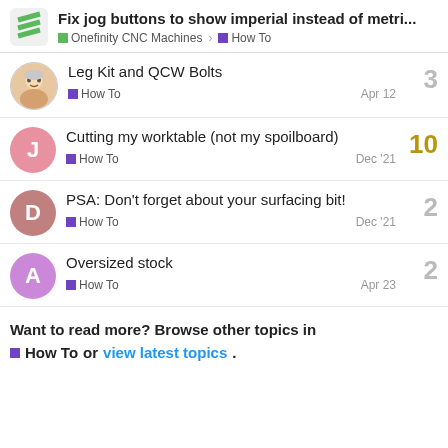Fix jog buttons to show imperial instead of metri... — Onefinity CNC Machines › How To
Leg Kit and QCW Bolts — How To — 3 replies — Apr 12
Cutting my worktable (not my spoilboard) — How To — 10 replies — Dec '21
PSA: Don't forget about your surfacing bit! — How To — 2 replies — Dec '21
Oversized stock — How To — 2 replies — Apr 23
Want to read more? Browse other topics in How To or view latest topics.